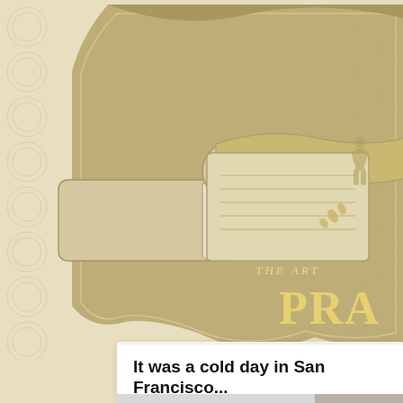[Figure (illustration): Website header banner for 'The Art of the Prank' blog. Tan/beige background with a vintage illustrated hand pointing, wearing a suit sleeve, on a decorative shield/badge shape. Text reads 'THE ART' and 'PRA' (truncated). Background has repeating circular watermark patterns on beige.]
It was a cold day in San Francisco...
by Wayne Zebzda
Filed under: Art Pranks, Pranksters
[Figure (photo): Photograph of a street/urban scene in San Francisco, showing a wall with graffiti on the right side and an open area. Black and white or desaturated photo.]